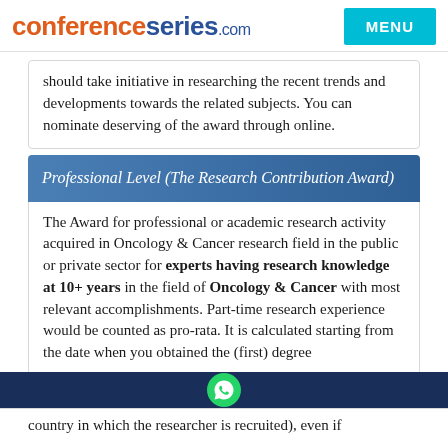conferenceseries.com | MENU
should take initiative in researching the recent trends and developments towards the related subjects. You can nominate deserving of the award through online.
Professional Level (The Research Contribution Award)
The Award for professional or academic research activity acquired in Oncology & Cancer research field in the public or private sector for experts having research knowledge at 10+ years in the field of Oncology & Cancer with most relevant accomplishments. Part-time research experience would be counted as pro-rata. It is calculated starting from the date when you obtained the (first) degree
country in which the researcher is recruited), even if